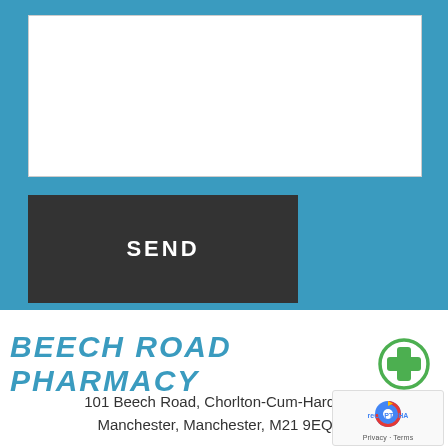[Figure (screenshot): White input text area box on blue background]
SEND
[Figure (logo): Beech Road Pharmacy logo with green plus icon]
101 Beech Road, Chorlton-Cum-Hardy, Manchester, Manchester, M21 9EQ
[Figure (other): reCAPTCHA badge with Privacy and Terms]